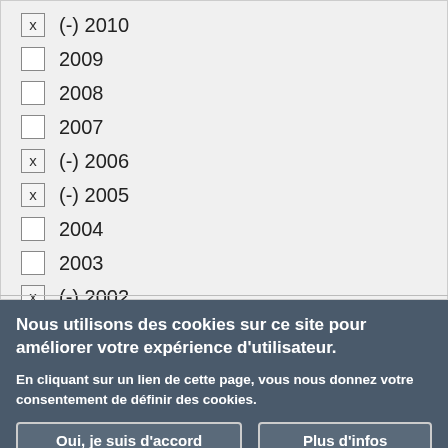x (-) 2010
2009
2008
2007
x (-) 2006
x (-) 2005
2004
2003
x (-) 2002
Nous utilisons des cookies sur ce site pour améliorer votre expérience d'utilisateur.
En cliquant sur un lien de cette page, vous nous donnez votre consentement de définir des cookies.
Oui, je suis d'accord | Plus d'infos